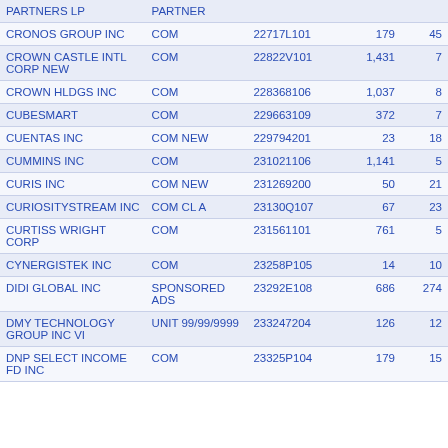| NAME | TYPE | CUSIP | COL4 | COL5 |
| --- | --- | --- | --- | --- |
| PARTNERS LP | PARTNER |  |  |  |
| CRONOS GROUP INC | COM | 22717L101 | 179 | 45 |
| CROWN CASTLE INTL CORP NEW | COM | 22822V101 | 1,431 | 7 |
| CROWN HLDGS INC | COM | 228368106 | 1,037 | 8 |
| CUBESMART | COM | 229663109 | 372 | 7 |
| CUENTAS INC | COM NEW | 229794201 | 23 | 18 |
| CUMMINS INC | COM | 231021106 | 1,141 | 5 |
| CURIS INC | COM NEW | 231269200 | 50 | 21 |
| CURIOSITYSTREAM INC | COM CL A | 23130Q107 | 67 | 23 |
| CURTISS WRIGHT CORP | COM | 231561101 | 761 | 5 |
| CYNERGISTEK INC | COM | 23258P105 | 14 | 10 |
| DIDI GLOBAL INC | SPONSORED ADS | 23292E108 | 686 | 274 |
| DMY TECHNOLOGY GROUP INC VI | UNIT 99/99/9999 | 233247204 | 126 | 12 |
| DNP SELECT INCOME FD INC | COM | 23325P104 | 179 | 15 |